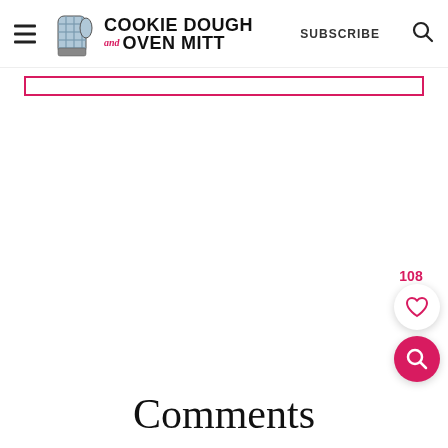Cookie Dough and Oven Mitt — SUBSCRIBE
[Figure (other): Pink/crimson border rectangle below header navigation]
108
[Figure (other): Heart (like/save) button circle white background]
[Figure (other): Search button circle pink background]
Comments